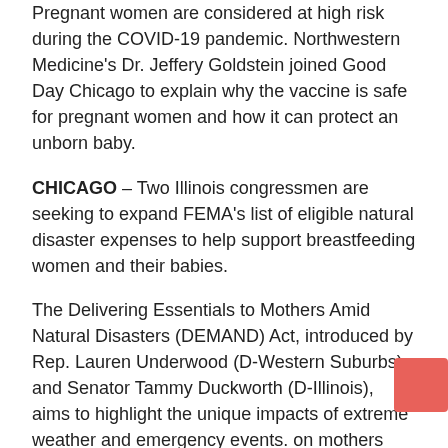Pregnant women are considered at high risk during the COVID-19 pandemic. Northwestern Medicine's Dr. Jeffery Goldstein joined Good Day Chicago to explain why the vaccine is safe for pregnant women and how it can protect an unborn baby.
CHICAGO – Two Illinois congressmen are seeking to expand FEMA's list of eligible natural disaster expenses to help support breastfeeding women and their babies.
The Delivering Essentials to Mothers Amid Natural Disasters (DEMAND) Act, introduced by Rep. Lauren Underwood (D-Western Suburbs) and Senator Tammy Duckworth (D-Illinois), aims to highlight the unique impacts of extreme weather and emergency events. on mothers and babies. The bipartisan legislation would add breast pumps and lactation support services to the list of eligible expenses for emergency aid.
“This is a scary and vulnerable time for many families, but for a